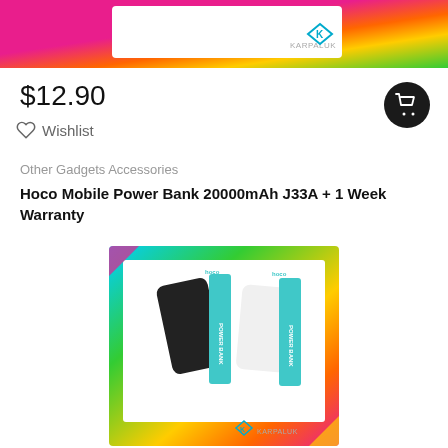[Figure (photo): Top banner with colorful gradient background (pink, orange, yellow, green) containing a white box with Karpaluk logo]
$12.90
Wishlist
Other Gadgets Accessories
Hoco Mobile Power Bank 20000mAh J33A + 1 Week Warranty
[Figure (photo): Product photo showing two Hoco Power Bank 20000mAh J33A units (one black, one white) with their packaging boxes against a colorful geometric background with Karpaluk logo]